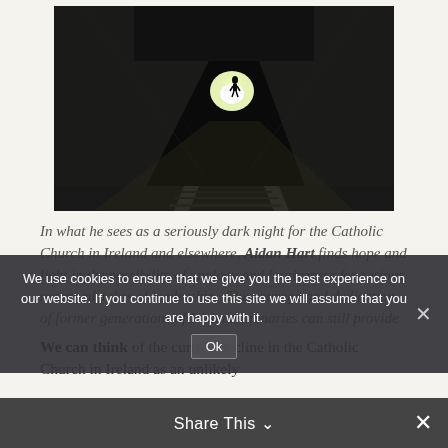[Figure (photo): A dark tunnel with a bright circular light at the far end, and a silhouette of a person walking toward the light. Train tracks visible on the floor.]
In what he sees as a seriously dark night for the Catholic Church in Ireland and elsewhere, Aidan Hart finds hope and light in the possibility of apology and forgiveness for serious recent mistakes of leadership.  The courage and dedication of former generations of Irish missionaries can still provide [implication].
We can think of the current decline in the Catholic Church in Ireland as an unlikely [continued]
We use cookies to ensure that we give you the best experience on our website. If you continue to use this site we will assume that you are happy with it.
Share This ∨